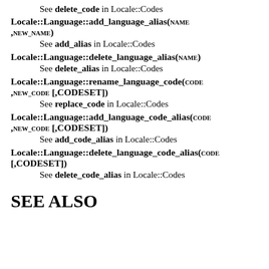See delete_code in Locale::Codes
Locale::Language::add_language_alias(NAME ,NEW_NAME)
See add_alias in Locale::Codes
Locale::Language::delete_language_alias(NAME)
See delete_alias in Locale::Codes
Locale::Language::rename_language_code(CODE ,NEW_CODE [,CODESET])
See replace_code in Locale::Codes
Locale::Language::add_language_code_alias(CODE ,NEW_CODE [,CODESET])
See add_code_alias in Locale::Codes
Locale::Language::delete_language_code_alias(CODE [,CODESET])
See delete_code_alias in Locale::Codes
SEE ALSO